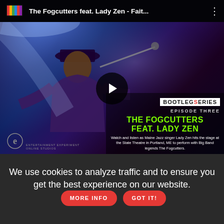[Figure (screenshot): YouTube video thumbnail showing The Fogcutters feat. Lady Zen - Fait... with BOOTLEG SERIES EPISODE THREE overlay, performer on stage with spotlight, play button in center]
[Figure (other): Salmon/pink colored banner rectangle below the video thumbnail]
We use cookies to analyze traffic and to ensure you get the best experience on our website.
MORE INFO
GOT IT!